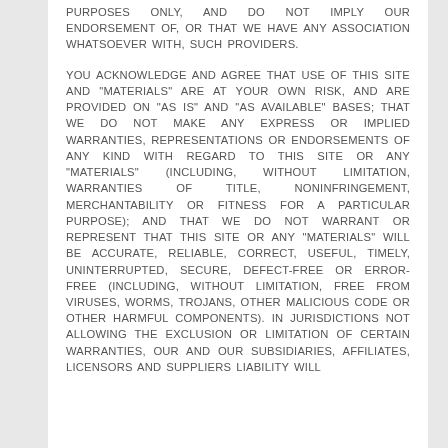PURPOSES ONLY, AND DO NOT IMPLY OUR ENDORSEMENT OF, OR THAT WE HAVE ANY ASSOCIATION WHATSOEVER WITH, SUCH PROVIDERS.
YOU ACKNOWLEDGE AND AGREE THAT USE OF THIS SITE AND "MATERIALS" ARE AT YOUR OWN RISK, AND ARE PROVIDED ON "AS IS" AND "AS AVAILABLE" BASES; THAT WE DO NOT MAKE ANY EXPRESS OR IMPLIED WARRANTIES, REPRESENTATIONS OR ENDORSEMENTS OF ANY KIND WITH REGARD TO THIS SITE OR ANY "MATERIALS" (INCLUDING, WITHOUT LIMITATION, WARRANTIES OF TITLE, NONINFRINGEMENT, MERCHANTABILITY OR FITNESS FOR A PARTICULAR PURPOSE); AND THAT WE DO NOT WARRANT OR REPRESENT THAT THIS SITE OR ANY "MATERIALS" WILL BE ACCURATE, RELIABLE, CORRECT, USEFUL, TIMELY, UNINTERRUPTED, SECURE, DEFECT-FREE OR ERROR-FREE (INCLUDING, WITHOUT LIMITATION, FREE FROM VIRUSES, WORMS, TROJANS, OTHER MALICIOUS CODE OR OTHER HARMFUL COMPONENTS). IN JURISDICTIONS NOT ALLOWING THE EXCLUSION OR LIMITATION OF CERTAIN WARRANTIES, OUR AND OUR SUBSIDIARIES, AFFILIATES, LICENSORS AND SUPPLIERS LIABILITY WILL